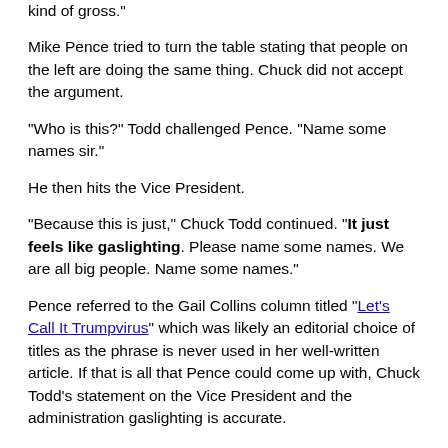kind of gross."
Mike Pence tried to turn the table stating that people on the left are doing the same thing. Chuck did not accept the argument.
"Who is this?" Todd challenged Pence. "Name some names sir."
He then hits the Vice President.
"Because this is just," Chuck Todd continued. "It just feels like gaslighting. Please name some names. We are all big people. Name some names."
Pence referred to the Gail Collins column titled "Let's Call It Trumpvirus" which was likely an editorial choice of titles as the phrase is never used in her well-written article. If that is all that Pence could come up with, Chuck Todd's statement on the Vice President and the administration gaslighting is accurate.
Chuck continued to hammer the Pence.